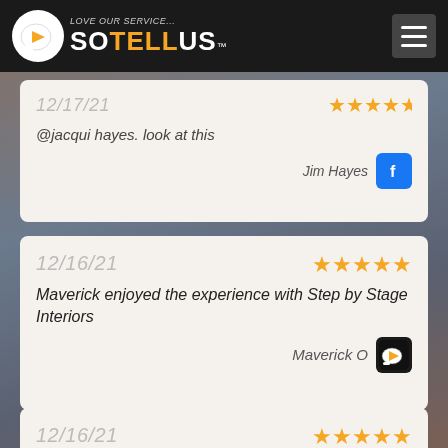Love our service... SoTellUs
12/17/21
@jacqui hayes. look at this
Jim Hayes
12/16/21
Maverick enjoyed the experience with Step by Stage Interiors
Maverick O
12/16/21
Paul Highly Recommends Step by Stage Interiors to their friends & family!